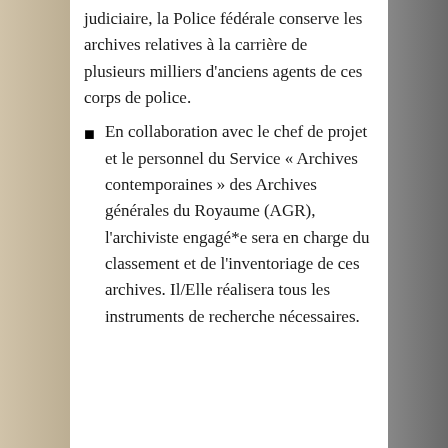judiciaire, la Police fédérale conserve les archives relatives à la carrière de plusieurs milliers d'anciens agents de ces corps de police.
En collaboration avec le chef de projet et le personnel du Service « Archives contemporaines » des Archives générales du Royaume (AGR), l'archiviste engagé*e sera en charge du classement et de l'inventoriage de ces archives. Il/Elle réalisera tous les instruments de recherche nécessaires.